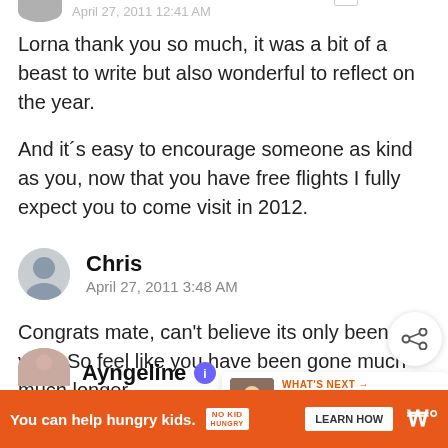Lorna thank you so much, it was a bit of a beast to write but also wonderful to reflect on the year.

And it´s easy to encourage someone as kind as you, now that you have free flights I fully expect you to come visit in 2012.
Chris
April 27, 2011 3:48 AM
Congrats mate, can't believe its only been a year. So feel like you have been gone much much longer.
Ayngeline
You can help hungry kids.   LEARN HOW